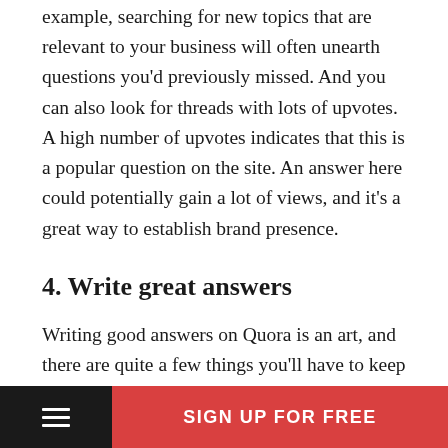example, searching for new topics that are relevant to your business will often unearth questions you'd previously missed. And you can also look for threads with lots of upvotes. A high number of upvotes indicates that this is a popular question on the site. An answer here could potentially gain a lot of views, and it's a great way to establish brand presence.
4. Write great answers
Writing good answers on Quora is an art, and there are quite a few things you'll have to keep in mind. Remember that you're here to provide value to your audience, so it's important that you write detailed, useful answers with references wherever possible. A
SIGN UP FOR FREE